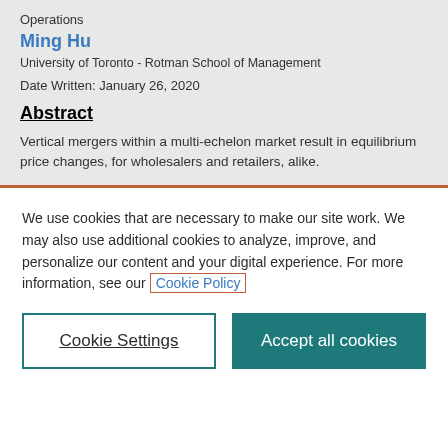Operations
Ming Hu
University of Toronto - Rotman School of Management
Date Written: January 26, 2020
Abstract
Vertical mergers within a multi-echelon market result in equilibrium price changes, for wholesalers and retailers, alike. They can also...
We use cookies that are necessary to make our site work. We may also use additional cookies to analyze, improve, and personalize our content and your digital experience. For more information, see our Cookie Policy
Cookie Settings
Accept all cookies